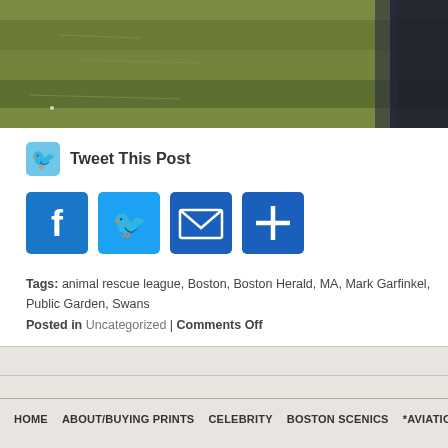[Figure (photo): Partial photo showing water/pond scene with green water surface and a dark-clothed figure on the right edge]
Tweet This Post
[Figure (infographic): Social sharing buttons: Facebook (F), Twitter (bird), Email (envelope), More (+)]
Tags: animal rescue league, Boston, Boston Herald, MA, Mark Garfinkel, Public Garden, Swans
Posted in Uncategorized | Comments Off
HOME   ABOUT/BUYING PRINTS   CELEBRITY   BOSTON SCENICS   *AVIATION*
Podcast powered by podPress v8.8.10.17